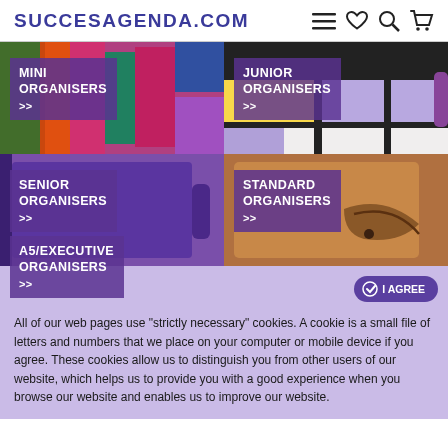SUCCESAGENDA.COM
[Figure (photo): Mini Organisers product image with colourful leather organisers]
[Figure (photo): Junior Organisers product image with geometric patterned organisers]
[Figure (photo): Senior Organisers product image with purple leather organiser]
[Figure (photo): Standard Organisers product image with brown leather wrap organiser]
[Figure (photo): A5/Executive Organisers product label overlaid on cookie banner]
All of our web pages use "strictly necessary" cookies. A cookie is a small file of letters and numbers that we place on your computer or mobile device if you agree. These cookies allow us to distinguish you from other users of our website, which helps us to provide you with a good experience when you browse our website and enables us to improve our website.